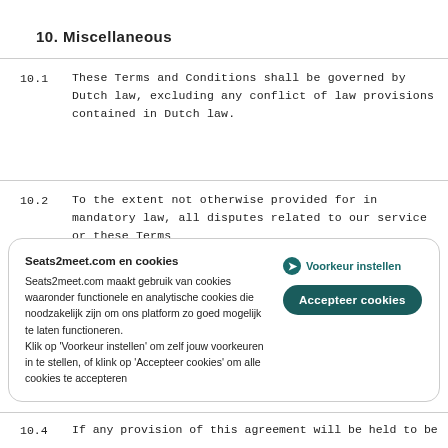10. Miscellaneous
10.1  These Terms and Conditions shall be governed by Dutch law, excluding any conflict of law provisions contained in Dutch law.
10.2  To the extent not otherwise provided for in mandatory law, all disputes related to our service or these Terms
Seats2meet.com en cookies
Seats2meet.com maakt gebruik van cookies waaronder functionele en analytische cookies die noodzakelijk zijn om ons platform zo goed mogelijk te laten functioneren.
Klik op 'Voorkeur instellen' om zelf jouw voorkeuren in te stellen, of klink op 'Accepteer cookies' om alle cookies te accepteren
Voorkeur instellen
Accepteer cookies
10.4  If any provision of this agreement will be held to be